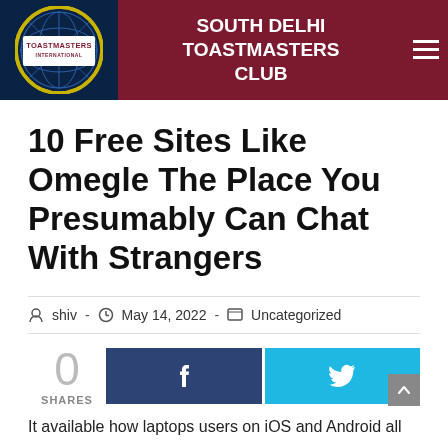SOUTH DELHI TOASTMASTERS CLUB
10 Free Sites Like Omegle The Place You Presumably Can Chat With Strangers
shiv · May 14, 2022 · Uncategorized
0 SHARES
It available how laptops users on iOS and Android all